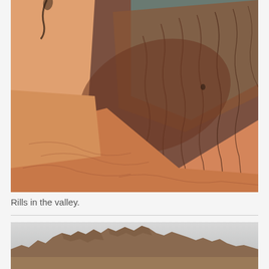[Figure (photo): Close-up aerial or angled view of reddish-orange sedimentary rock formations showing rills and erosion patterns in a valley. The rock layers show orange, dark red/brown, and grey/blue-grey banding. Striations and erosion channels (rills) are visible across the surface.]
Rills in the valley.
[Figure (photo): Landscape view of rocky mountain ridgeline with jagged peaks against a pale grey sky. The rocks appear brownish-grey and the foreground shows flat terrain.]